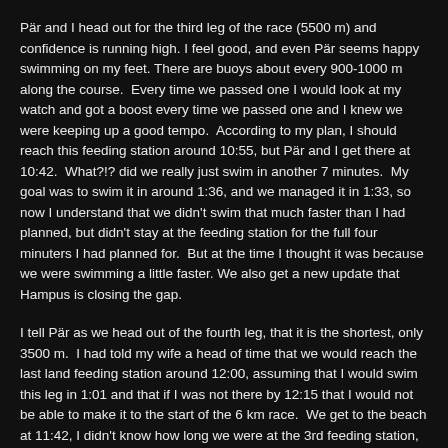Pär and I head out for the third leg of the race (5500 m) and confidence is running high. I feel good, and even Pär seems happy swimming on my feet. There are buoys about every 900-1000 m along the course.  Every time we passed one I would look at my watch and got a boost every time we passed one and I knew we were keeping up a good tempo.  According to my plan, I should reach this feeding station around 10:55, but Pär and I get there at 10:42.  What?!? did we really just swim in another 7 minutes.  My goal was to swim it in around 1:36, and we managed it in 1:33, so now I understand that we didn't swim that much faster than I had planned, but didn't stay at the feeding station for the full four minuters I had planned for.  But at the time I thought it was because we were swimming a little faster. We also get a new update that Hampus is closing the gap.
I tell Pär as we head out of the fourth leg, that it is the shortest, only 3500 m.  I had told my wife a head of time that we would reach the last land feeding station around 12:00, assuming that I would swim this leg in 1:01 and that if I was not there by 12:15 that I would not be able to make it to the start of the 6 km race.  We get to the beach at 11:42, I didn't know how long we were at the 3rd feeding station, but I knew that we swam and ate in just about an hour.  it would turn out that we swam the fourth leg in 58:30. Just under my 1:01 goal. Again lots of friends, but no family.  We were 18 minutes ahead of schedule, so I asked a friend to inform Jeanette that unless something major happened during the last leg of the race, that I would make it in time to swim the 6km